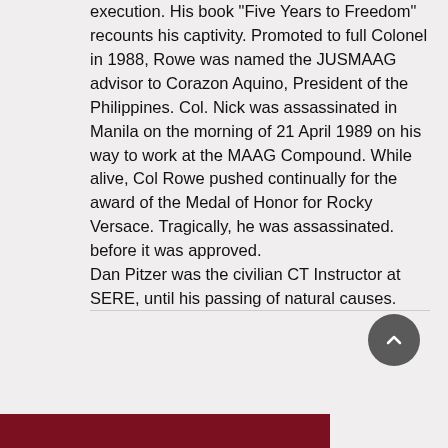execution. His book 'Five Years to Freedom' recounts his captivity. Promoted to full Colonel in 1988, Rowe was named the JUSMAAG advisor to Corazon Aquino, President of the Philippines. Col. Nick was assassinated in Manila on the morning of 21 April 1989 on his way to work at the MAAG Compound. While alive, Col Rowe pushed continually for the award of the Medal of Honor for Rocky Versace. Tragically, he was assassinated. before it was approved.
Dan Pitzer was the civilian CT Instructor at SERE, until his passing of natural causes.